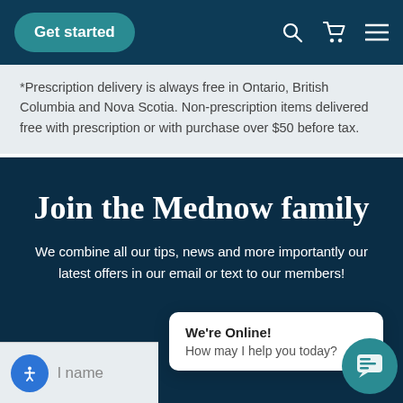[Figure (screenshot): Navigation bar with teal 'Get started' button and search, cart, and menu icons on dark blue background]
Prescription delivery is always free in Ontario, British Columbia and Nova Scotia. Non-prescription items delivered free with prescription or with purchase over $50 before tax.
Join the Mednow family
We combine all our tips, news and more importantly our latest offers in our email or text to our members!
We're Online! How may I help you today?